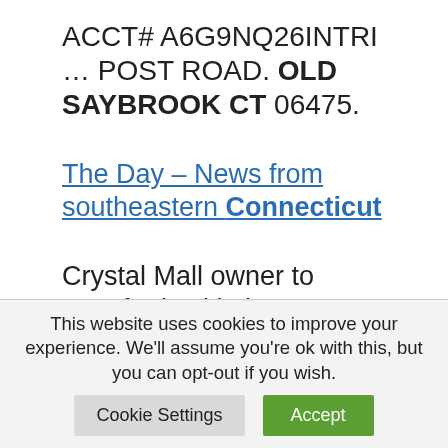ACCT# A6G9NQ26INTRI … POST ROAD. OLD SAYBROOK CT 06475.
The Day – News from southeastern Connecticut
Crystal Mall owner to transfer its title interest 'back to lender'. 4. Published November 14. 2020 9:20PM | Updated November 14. 2020 11:42PM …
Fuel For Fire – Fuel For Fire
This website uses cookies to improve your experience. We'll assume you're ok with this, but you can opt-out if you wish.